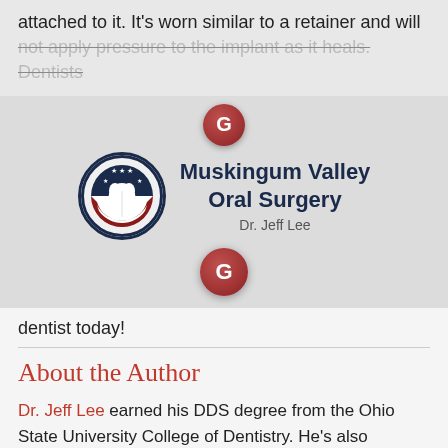attached to it. It's worn similar to a retainer and will not apply pressure to the implant as it heals. Dentists
[Figure (logo): Muskingum Valley Oral Surgery logo with circular badge featuring American flag and tooth design, Dr. Jeff Lee, with two Google G bubbles above and below]
dentist today!
About the Author
Dr. Jeff Lee earned his DDS degree from the Ohio State University College of Dentistry. He's also completed a four-year residency in Oral and Maxillofacial Surgery, allowing him to place and restore implants. To learn more about his expertise or practice, you can contact him through his website.